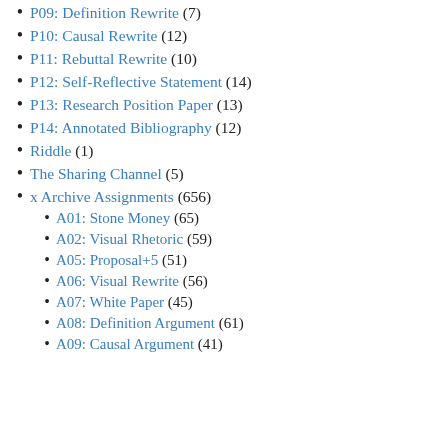P09: Definition Rewrite (7)
P10: Causal Rewrite (12)
P11: Rebuttal Rewrite (10)
P12: Self-Reflective Statement (14)
P13: Research Position Paper (13)
P14: Annotated Bibliography (12)
Riddle (1)
The Sharing Channel (5)
x Archive Assignments (656)
A01: Stone Money (65)
A02: Visual Rhetoric (59)
A05: Proposal+5 (51)
A06: Visual Rewrite (56)
A07: White Paper (45)
A08: Definition Argument (61)
A09: Causal Argument (41)